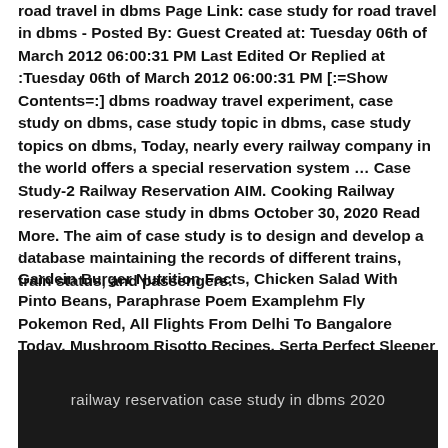road travel in dbms Page Link: case study for road travel in dbms - Posted By: Guest Created at: Tuesday 06th of March 2012 06:00:31 PM Last Edited Or Replied at :Tuesday 06th of March 2012 06:00:31 PM [:=Show Contents=:] dbms roadway travel experiment, case study on dbms, case study topic in dbms, case study topics on dbms, Today, nearly every railway company in the world offers a special reservation system … Case Study-2 Railway Reservation AIM. Cooking Railway reservation case study in dbms October 30, 2020 Read More. The aim of case study is to design and develop a database maintaining the records of different trains, train status, and passengers.
:
Gardein Burger Nutrition Facts, Chicken Salad With Pinto Beans, Paraphrase Poem Examplehm Fly Pokemon Red, All Flights From Delhi To Bangalore Today, Mushroom Risotto Recipes, Serta Perfect Sleeper Cheery Days, Costco Strawberries Price,
railway reservation case study in dbms 2020